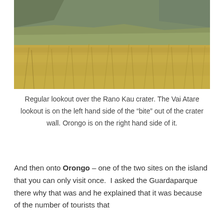[Figure (photo): Landscape photo of the Rano Kau crater interior showing golden-brown grasses in the foreground and green volcanic crater walls in the background under an overcast sky]
Regular lookout over the Rano Kau crater. The Vai Atare lookout is on the left hand side of the “bite” out of the crater wall. Orongo is on the right hand side of it.
And then onto Orongo – one of the two sites on the island that you can only visit once. I asked the Guardaparque there why that was and he explained that it was because of the number of tourists that